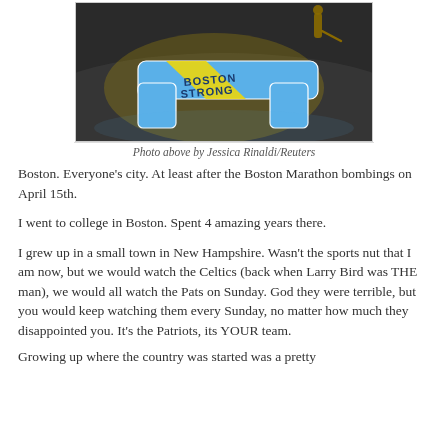[Figure (photo): A 'Boston Strong' awareness ribbon projected in blue and yellow on an ice rink surface, with a hockey player visible in the background.]
Photo above by Jessica Rinaldi/Reuters
Boston.  Everyone's city. At least after the Boston Marathon bombings on April 15th.
I went to college in Boston.  Spent 4 amazing years there.
I grew up in a small town in New Hampshire.  Wasn't the sports nut that I am now, but we would watch the Celtics (back when Larry Bird was THE man), we would all watch the Pats on Sunday.  God they were terrible, but you would keep watching them every Sunday, no matter how much they disappointed you.  It's the Patriots, its YOUR team.
Growing up where the country was started was a pretty